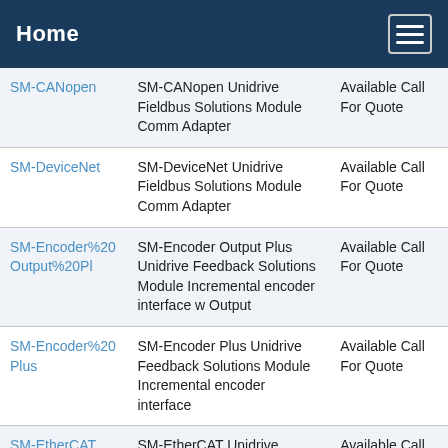Home
|  |  |  |
| --- | --- | --- |
| SM-CANopen | SM-CANopen Unidrive Fieldbus Solutions Module Comm Adapter | Available Call For Quote |
| SM-DeviceNet | SM-DeviceNet Unidrive Fieldbus Solutions Module Comm Adapter | Available Call For Quote |
| SM-Encoder%20Output%20Pl | SM-Encoder Output Plus Unidrive Feedback Solutions Module Incremental encoder interface w Output | Available Call For Quote |
| SM-Encoder%20Plus | SM-Encoder Plus Unidrive Feedback Solutions Module Incremental encoder interface | Available Call For Quote |
| SM-EtherCAT | SM-EtherCAT Unidrive Fieldbus Solutions Module | Available Call For |